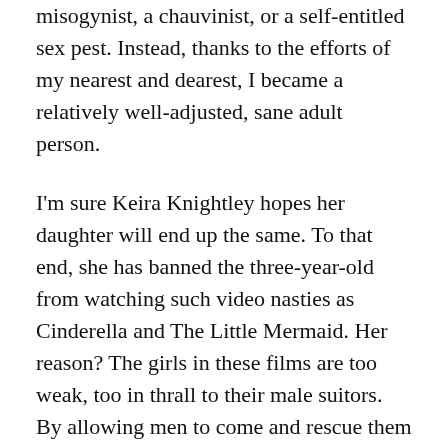misogynist, a chauvinist, or a self-entitled sex pest. Instead, thanks to the efforts of my nearest and dearest, I became a relatively well-adjusted, sane adult person.
I'm sure Keira Knightley hopes her daughter will end up the same. To that end, she has banned the three-year-old from watching such video nasties as Cinderella and The Little Mermaid. Her reason? The girls in these films are too weak, too in thrall to their male suitors. By allowing men to come and rescue them they set a bad example to the women of tomorrow.
Now I'm all for the empowerment of women and